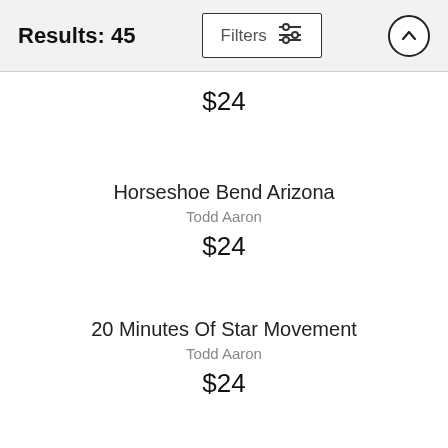Results: 45
$24
Horseshoe Bend Arizona
Todd Aaron
$24
20 Minutes Of Star Movement
Todd Aaron
$24